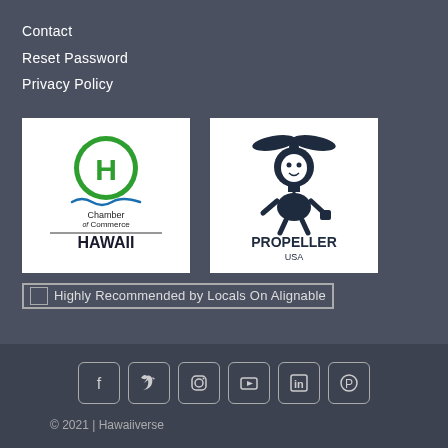Contact
Reset Password
Privacy Policy
[Figure (logo): Chamber of Commerce Hawaii logo - green circle with H, blue wave, text Chamber of Commerce HAWAII]
[Figure (logo): Propeller USA logo - cartoon character with helicopter hat, text PROPELLER USA]
[Figure (illustration): Broken image placeholder: Highly Recommended by Locals On Alignable]
[Figure (illustration): Social media icons row: Facebook, Twitter, Instagram, YouTube, LinkedIn, Pinterest]
© 2021 | Hawaiiverse